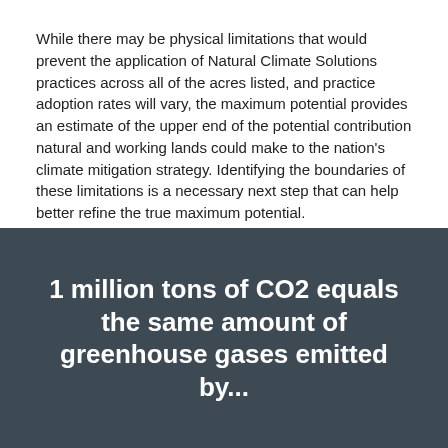While there may be physical limitations that would prevent the application of Natural Climate Solutions practices across all of the acres listed, and practice adoption rates will vary, the maximum potential provides an estimate of the upper end of the potential contribution natural and working lands could make to the nation's climate mitigation strategy. Identifying the boundaries of these limitations is a necessary next step that can help better refine the true maximum potential.
1 million tons of CO2 equals the same amount of greenhouse gases emitted by...